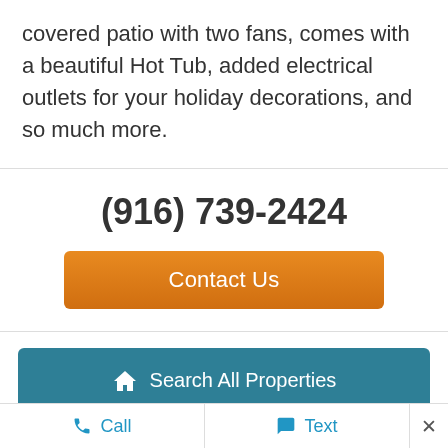covered patio with two fans, comes with a beautiful Hot Tub, added electrical outlets for your holiday decorations, and so much more.
(916) 739-2424
Contact Us
Search All Properties
Share
Call   Text   ×